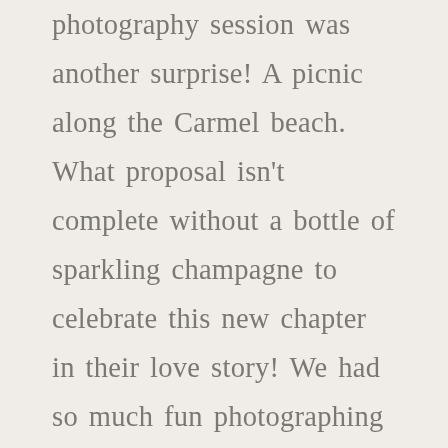photography session was another surprise! A picnic along the Carmel beach. What proposal isn't complete without a bottle of sparkling champagne to celebrate this new chapter in their love story! We had so much fun photographing the popping of the bottle as well as great shots for them to share the big news with all their friends and family! You might be like us in that we couldn't wait to share